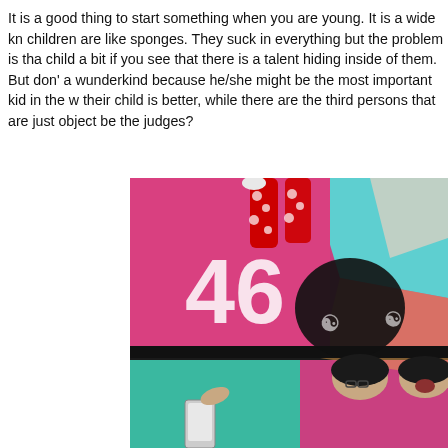It is a good thing to start something when you are young. It is a wide kn children are like sponges. They suck in everything but the problem is tha child a bit if you see that there is a talent hiding inside of them. But don' a wunderkind because he/she might be the most important kid in the w their child is better, while there are the third persons that are just object be the judges?
[Figure (photo): Aerial/top-down photo of several young people lying on a colorful painted floor with the number 46 visible. The floor has pink, teal, and other bright geometric colors. One person wears bright red polka-dot leggings. The others wear black outfits.]